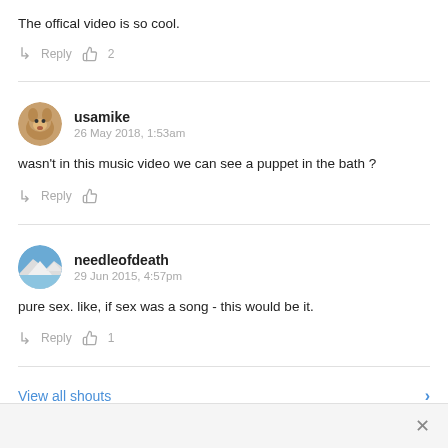The offical video is so cool.
Reply 👍 2
usamike
26 May 2018, 1:53am
wasn't in this music video we can see a puppet in the bath ?
Reply 👍
needleofdeath
29 Jun 2015, 4:57pm
pure sex. like, if sex was a song - this would be it.
Reply 👍 1
View all shouts